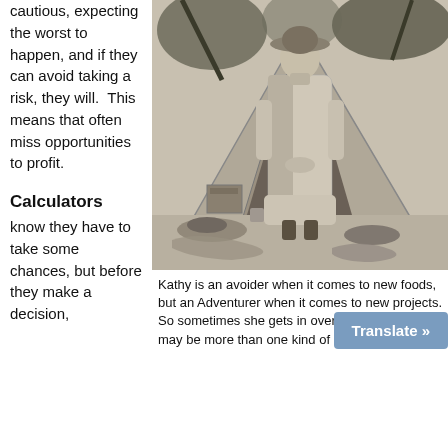cautious, expecting the worst to happen, and if they can avoid taking a risk, they will.  This means that often miss opportunities to profit.
Calculators
know they have to take some chances, but before they make a decision,
[Figure (photo): Black and white photograph of a woman in a long coat and hat standing in front of a tent outdoors. Items and bags are on the ground around her. Palm trees visible in background.]
Kathy is an avoider when it comes to new foods, but an Adventurer when it comes to new projects. So sometimes she gets in over her head. You may be more than one kind of risk taker as we
Translate »